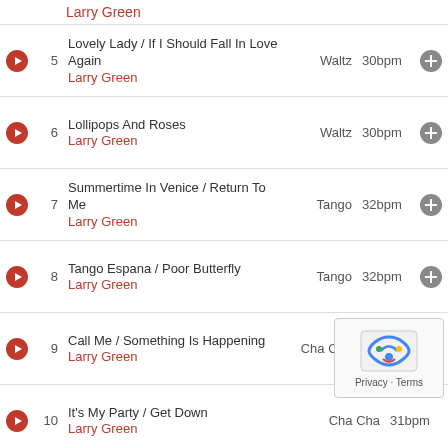Larry Green (top partial)
5 - Lovely Lady / If I Should Fall In Love Again - Larry Green - Waltz - 30bpm
6 - Lollipops And Roses - Larry Green - Waltz - 30bpm
7 - Summertime In Venice / Return To Me - Larry Green - Tango - 32bpm
8 - Tango Espana / Poor Butterfly - Larry Green - Tango - 32bpm
9 - Call Me / Something Is Happening - Larry Green - Cha Cha - 31bpm
10 - It's My Party / Get Down - Larry Green - Cha Cha - 31bpm
11 - Softly In My Dreams / Querida - Rumba - 27bpm